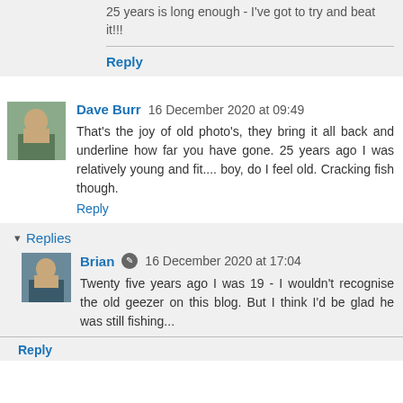25 years is long enough - I've got to try and beat it!!!
Reply
Dave Burr  16 December 2020 at 09:49
That's the joy of old photo's, they bring it all back and underline how far you have gone. 25 years ago I was relatively young and fit.... boy, do I feel old. Cracking fish though.
Reply
Replies
Brian  16 December 2020 at 17:04
Twenty five years ago I was 19 - I wouldn't recognise the old geezer on this blog. But I think I'd be glad he was still fishing...
Reply